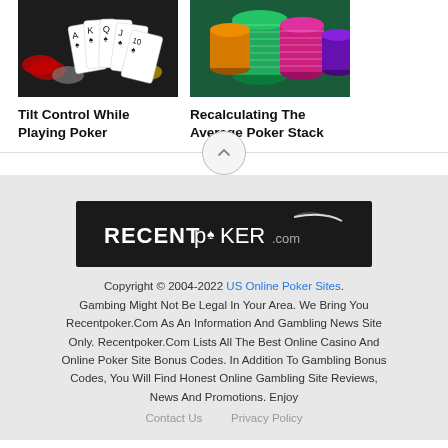[Figure (photo): Photo of playing cards (A K Q J 10 of spades) fanned out with poker chips on dark background]
[Figure (photo): Photo of stacked colorful poker chips (green, pink, orange, purple) on a green felt surface]
Tilt Control While Playing Poker
Recalculating The Average Poker Stack
[Figure (logo): RecentPoker.com logo — white text on black background with arc swoosh]
Copyright © 2004-2022 US Online Poker Sites. Gambing Might Not Be Legal In Your Area. We Bring You Recentpoker.Com As An Information And Gambling News Site Only. Recentpoker.Com Lists All The Best Online Casino And Online Poker Site Bonus Codes. In Addition To Gambling Bonus Codes, You Will Find Honest Online Gambling Site Reviews, News And Promotions. Enjoy
Contact Us    Privacy Policy